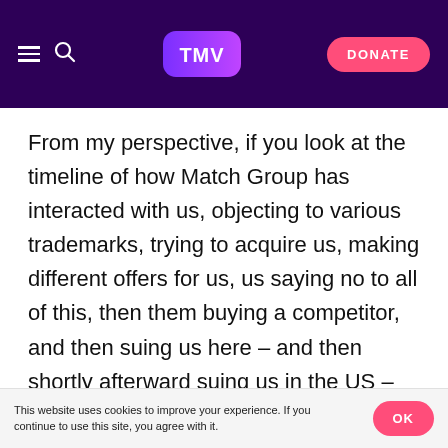TMV — navigation header with hamburger menu, search icon, TMV logo, and DONATE button
From my perspective, if you look at the timeline of how Match Group has interacted with us, objecting to various trademarks, trying to acquire us, making different offers for us, us saying no to all of this, then them buying a competitor, and then suing us here – and then shortly afterward suing us in the US – this is clearly, in my eyes, a cynical way for a large, global corporation to try and exert pressure on what is a small start-up. I find a lot of this litigation very cynical – for a big company it's very trivial but for a small company it's actually a very big deal.
This website uses cookies to improve your experience. If you continue to use this site, you agree with it.   OK